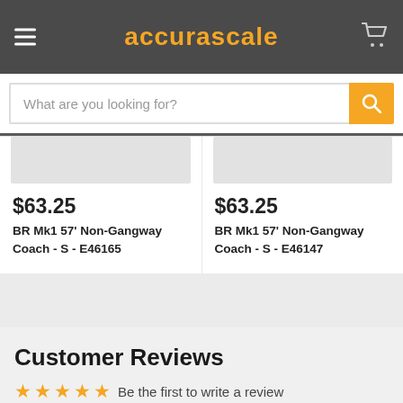accurascale
What are you looking for?
$63.25
BR Mk1 57' Non-Gangway Coach - S - E46165
$63.25
BR Mk1 57' Non-Gangway Coach - S - E46147
Customer Reviews
Be the first to write a review
Write a review